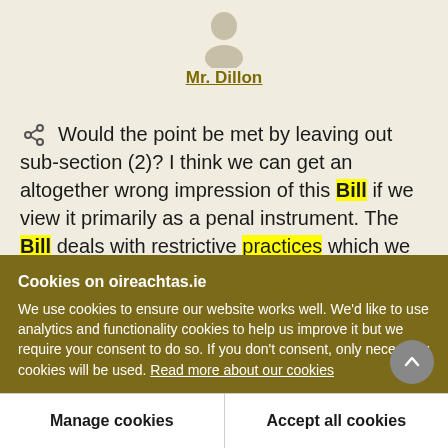[Figure (illustration): Generic person/user avatar silhouette icon in muted beige/grey tones]
Mr. Dillon
Would the point be met by leaving out sub-section (2)? I think we can get an altogether wrong impression of this Bill if we view it primarily as a penal instrument. The Bill deals with restrictive practices which we wish to change, and there is no necessity to visit such breaches of the law with these
Cookies on oireachtas.ie
We use cookies to ensure our website works well. We'd like to use analytics and functionality cookies to help us improve it but we require your consent to do so. If you don't consent, only necessary cookies will be used. Read more about our cookies
Manage cookies
Accept all cookies